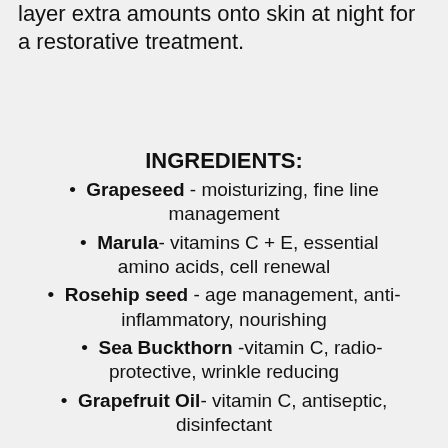layer extra amounts onto skin at night for a restorative treatment.
INGREDIENTS:
Grapeseed - moisturizing, fine line management
Marula- vitamins C + E, essential amino acids, cell renewal
Rosehip seed - age management, anti-inflammatory, nourishing
Sea Buckthorn -vitamin C, radio-protective, wrinkle reducing
Grapefruit Oil- vitamin C, antiseptic, disinfectant